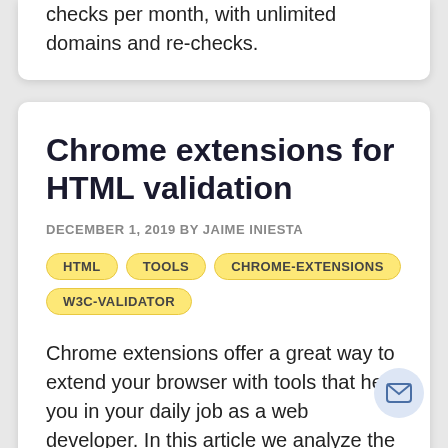checks per month, with unlimited domains and re-checks.
Chrome extensions for HTML validation
DECEMBER 1, 2019 BY JAIME INIESTA
HTML
TOOLS
CHROME-EXTENSIONS
W3C-VALIDATOR
Chrome extensions offer a great way to extend your browser with tools that help you in your daily job as a web developer. In this article we analyze the most popular extensions that help you with HTML